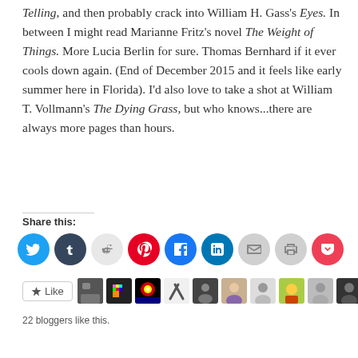Telling, and then probably crack into William H. Gass's Eyes. In between I might read Marianne Fritz's novel The Weight of Things. More Lucia Berlin for sure. Thomas Bernhard if it ever cools down again. (End of December 2015 and it feels like early summer here in Florida). I'd also love to take a shot at William T. Vollmann's The Dying Grass, but who knows...there are always more pages than hours.
Share this:
[Figure (infographic): Row of social sharing icon buttons: Twitter (blue), Tumblr (dark blue), Reddit (light grey), Pinterest (red), Facebook (blue), LinkedIn (blue), Email (grey), Print (grey), Pocket (red)]
[Figure (infographic): Like button with star icon, followed by a strip of blogger avatar thumbnails]
22 bloggers like this.